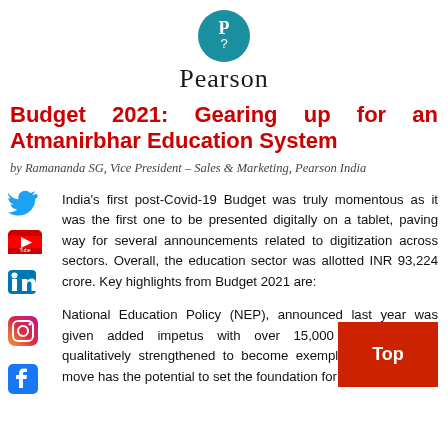[Figure (logo): Pearson logo: teal circle with white 'P' and question mark, with 'Pearson' text below in serif font]
Budget 2021: Gearing up for an Atmanirbhar Education System
by Ramananda SG, Vice President – Sales & Marketing, Pearson India
India's first post-Covid-19 Budget was truly momentous as it was the first one to be presented digitally on a tablet, paving way for several announcements related to digitization across sectors. Overall, the education sector was allotted INR 93,224 crore. Key highlights from Budget 2021 are:
National Education Policy (NEP), announced last year was given added impetus with over 15,000 schools being qualitatively strengthened to become exemplar schools. This move has the potential to set the foundation for new-age